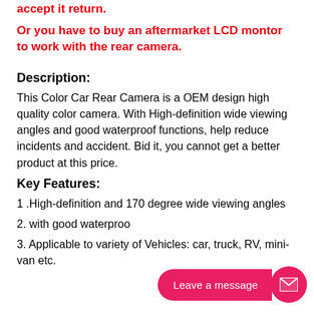accept it return.
Or you have to buy an aftermarket LCD montor to work with the rear camera.
Description:
This Color Car Rear Camera is a OEM design high quality color camera. With High-definition wide viewing angles and good waterproof functions, help reduce incidents and accident. Bid it, you cannot get a better product at this price.
Key Features:
1 .High-definition and 170 degree wide viewing angles
2. with good waterproo...
3. Applicable to variety of Vehicles: car, truck, RV, mini-van etc.
[Figure (other): Live chat widget with 'Leave a message' button and mail icon]